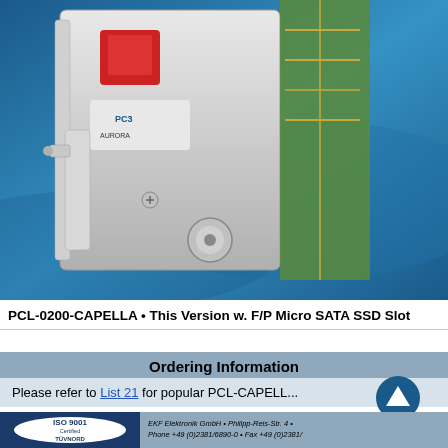[Figure (photo): Product photo of PCL-0200-CAPELLA module with white housing, red component, PC3 label, and connector, on blue background]
PCL-0200-CAPELLA • This Version w. F/P Micro SATA SSD Slot
Ordering Information
Please refer to List 21 for popular PCL-CAPELL...
[Figure (logo): ISO 9001 Certified TÜV NORD oval logo on dark blue background]
EKF Elektronik GmbH • Philipp-Reis-Str. 4 • Phone +49 (0)2381/6890-0 • Fax +49 (0)2381/...